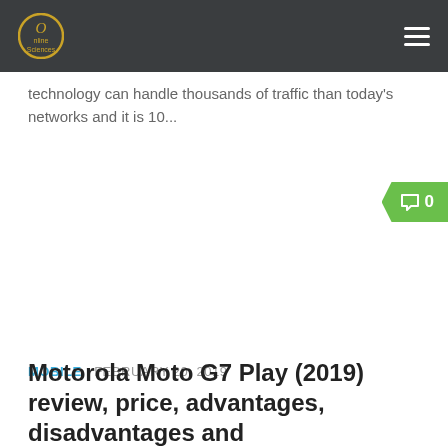Online Sciences
technology can handle thousands of traffic than today's networks and it is 10...
0
MOBILE  FEBRUARY 20, 2019
Motorola Moto G7 Play (2019) review, price, advantages, disadvantages and